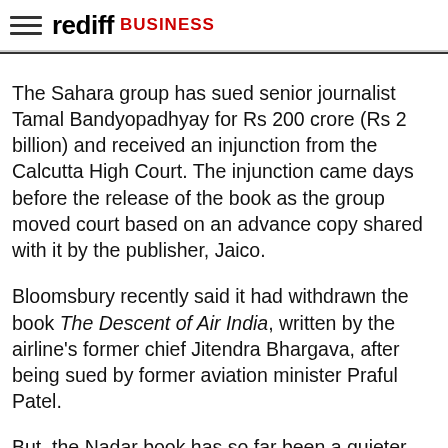rediff BUSINESS
The Sahara group has sued senior journalist Tamal Bandyopadhyay for Rs 200 crore (Rs 2 billion) and received an injunction from the Calcutta High Court. The injunction came days before the release of the book as the group moved court based on an advance copy shared with it by the publisher, Jaico.
Bloomsbury recently said it had withdrawn the book The Descent of Air India, written by the airline's former chief Jitendra Bhargava, after being sued by former aviation minister Praful Patel.
But, the Nadar book has so far been a quieter affair, as the author himself is bound by detailed ‘non-disclosure’ agreements.
Maney was assisted by an India-based research team headed by Prasanto K Roy, a New Delhi-based tech writer.
More